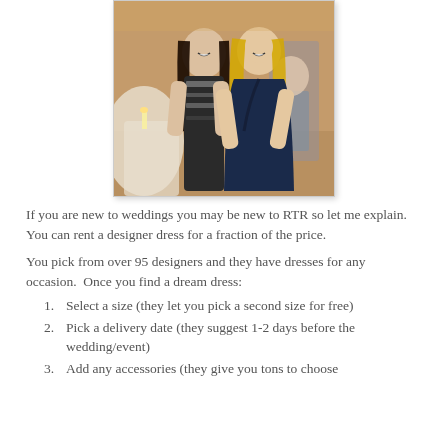[Figure (photo): Two women posing together at a wedding/event venue. The woman on the left wears a black and white patterned dress, and the woman on the right wears a navy blue dress. Other guests visible in the background.]
If you are new to weddings you may be new to RTR so let me explain.  You can rent a designer dress for a fraction of the price.
You pick from over 95 designers and they have dresses for any occasion.  Once you find a dream dress:
Select a size (they let you pick a second size for free)
Pick a delivery date (they suggest 1-2 days before the wedding/event)
Add any accessories (they give you tons to choose